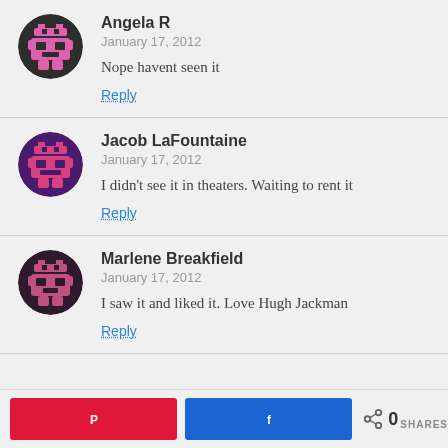[Figure (illustration): Avatar icon for Angela R - pixel art robot on dark circle background, pink/purple colors]
Angela R
January 17, 2012
Nope havent seen it
Reply
[Figure (illustration): Avatar icon for Jacob LaFountaine - pixel art robot on dark purple circle background, pink colors]
Jacob LaFountaine
January 17, 2012
I didn’t see it in theaters. Waiting to rent it
Reply
[Figure (illustration): Avatar icon for Marlene Breakfield - pixel art robot on dark circle background, pink/mauve colors]
Marlene Breakfield
January 17, 2012
I saw it and liked it. Love Hugh Jackman
Reply
0 SHARES